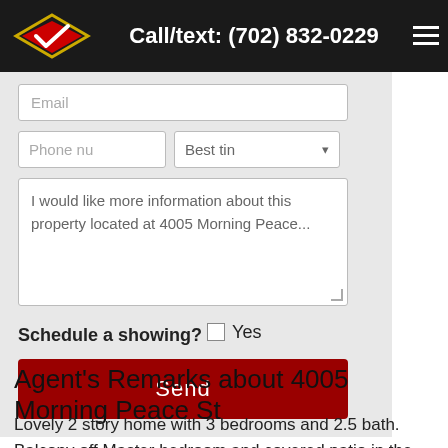Call/text: (702) 832-0229
[Figure (screenshot): Contact form with Email input, Phone number input, Best time dropdown, message textarea, Schedule a showing checkbox, and Send button]
Agent's Remarks about 4005 Morning Peace St
Lovely 2 story home with 3 bedrooms and 2.5 bath. Balcony off Master bedroom and covered patio in the rear yard. Tile floors throughout downstairs and brand new carpet upstairs. Great property to move right in and make your own, neutral colors throughout, single car garage, corner lot, ready to move in